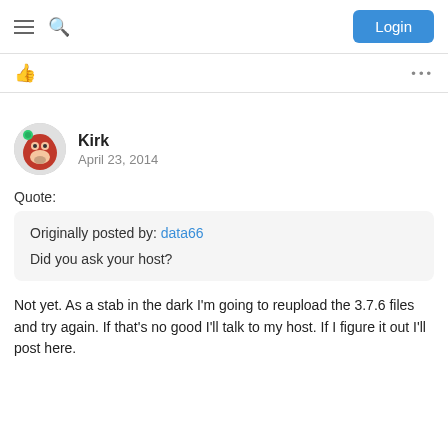Login
Kirk
April 23, 2014
Quote:
Originally posted by: data66
Did you ask your host?
Not yet. As a stab in the dark I'm going to reupload the 3.7.6 files and try again. If that's no good I'll talk to my host. If I figure it out I'll post here.